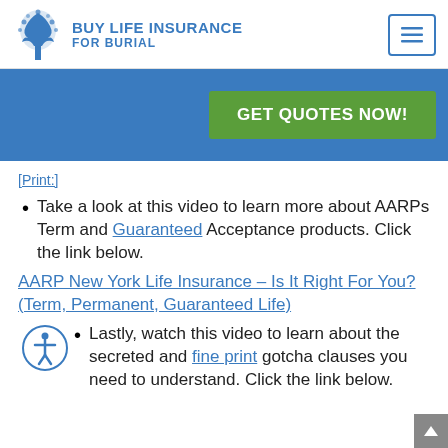[Figure (logo): Blue tree illustration with 'BUY LIFE INSURANCE FOR BURIAL' text and hamburger menu button]
[Figure (other): Blue banner with green 'GET QUOTES NOW!' button]
[Print:]
Take a look at this video to learn more about AARPs Term and Guaranteed Acceptance products. Click the link below.
AARP New York Life Insurance – Is It Right For You? (Term, Permanent, Guaranteed Life)
Lastly, watch this video to learn about the secreted and fine print gotcha clauses you need to understand. Click the link below.